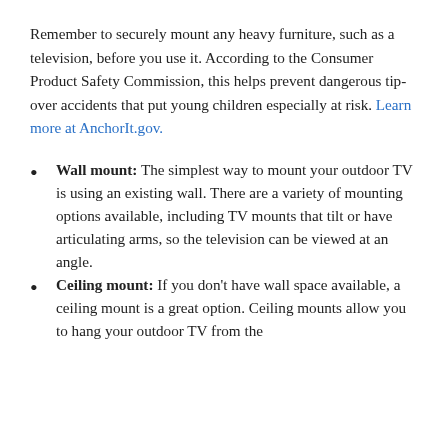Remember to securely mount any heavy furniture, such as a television, before you use it. According to the Consumer Product Safety Commission, this helps prevent dangerous tip-over accidents that put young children especially at risk. Learn more at AnchorIt.gov.
Wall mount: The simplest way to mount your outdoor TV is using an existing wall. There are a variety of mounting options available, including TV mounts that tilt or have articulating arms, so the television can be viewed at an angle.
Ceiling mount: If you don't have wall space available, a ceiling mount is a great option. Ceiling mounts allow you to hang your outdoor TV from the ceiling of your covered outdoor space, and ...